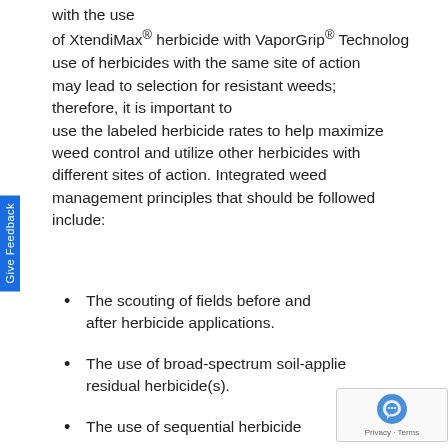with the use of XtendiMax® herbicide with VaporGrip® Technology use of herbicides with the same site of action may lead to selection for resistant weeds; therefore, it is important to use the labeled herbicide rates to help maximize weed control and utilize other herbicides with different sites of action. Integrated weed management principles that should be followed include:
The scouting of fields before and after herbicide applications.
The use of broad-spectrum soil-applied residual herbicide(s).
The use of sequential herbicide